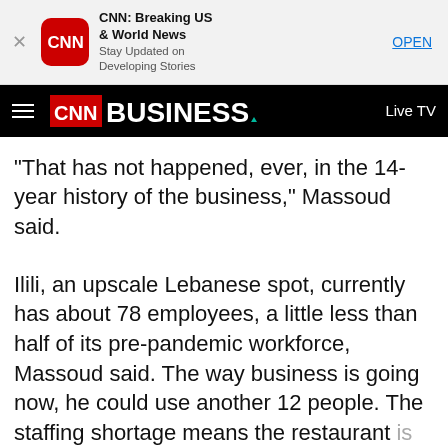[Figure (screenshot): CNN app banner with red CNN icon, app title 'CNN: Breaking US & World News', subtitle 'Stay Updated on Developing Stories', and OPEN button]
[Figure (screenshot): CNN Business navigation bar with hamburger menu, CNN Business logo, and Live TV button]
"That has not happened, ever, in the 14-year history of the business," Massoud said.
Ilili, an upscale Lebanese spot, currently has about 78 employees, a little less than half of its pre-pandemic workforce, Massoud said. The way business is going now, he could use another 12 people. The staffing shortage means the restaurant is not open for business during lunch or on Monday nights, even as it struggles